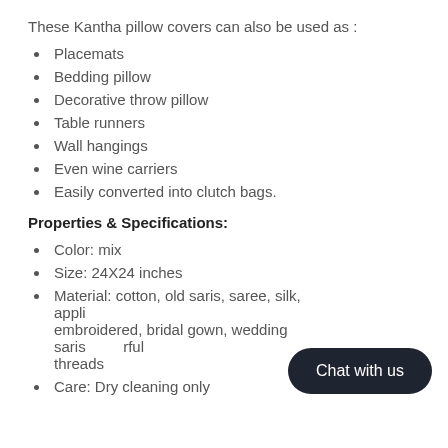These Kantha pillow covers can also be used as :
Placemats
Bedding pillow
Decorative throw pillow
Table runners
Wall hangings
Even wine carriers
Easily converted into clutch bags.
Properties & Specifications:
Color: mix
Size: 24X24 inches
Material: cotton, old saris, saree, silk, appli… embroidered, bridal gown, wedding saris…rful threads
Care: Dry cleaning only